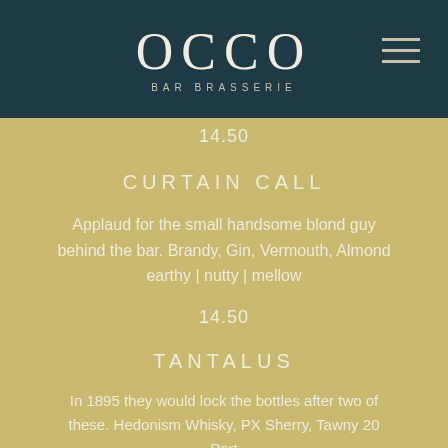OCCO BAR BRASSERIE
14.50
CURTAIN CALL
Applaud for the small handsome blond guy behind the bar. Brandy, Gin, Vermouth, Almond earthy | nutty | mellow
14.50
TANTALUS
In 1895 they would lock the bottles after two of these. Hedonism Whisky, PX Sherry, Tawny 20 Port dark | oaky | rich